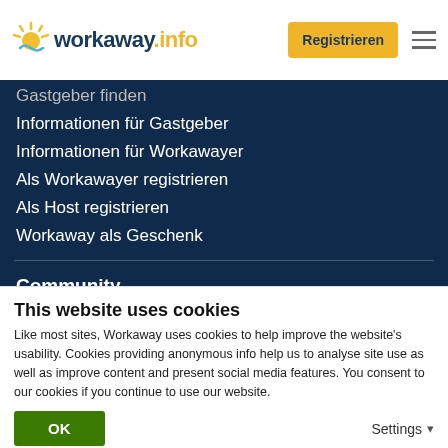workaway.info — Registrieren
Gastgeber finden
Informationen für Gastgeber
Informationen für Workawayer
Als Workawayer registrieren
Als Host registrieren
Workaway als Geschenk
Community
Workaway Blog
Workaway Fotogalerie
Workaway.tv
This website uses cookies
Like most sites, Workaway uses cookies to help improve the website's usability. Cookies providing anonymous info help us to analyse site use as well as improve content and present social media features.  You consent to our cookies if you continue to use our website.
OK
Settings